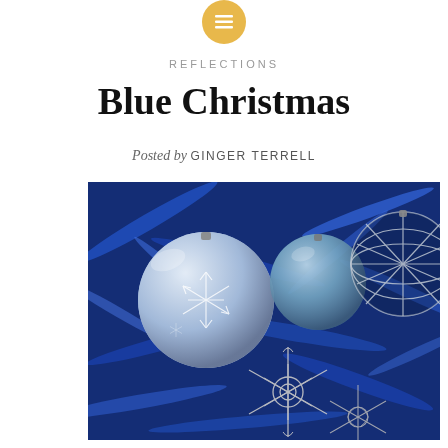[Figure (logo): Gold circular icon with horizontal lines (menu/list icon)]
REFLECTIONS
Blue Christmas
Posted by GINGER TERRELL
[Figure (photo): Close-up photograph of silver and blue Christmas ornaments including glass balls with snowflake designs, a filigree star, and a decorative cage-style ornament, all set among shiny blue tinsel and metallic blue ribbon.]